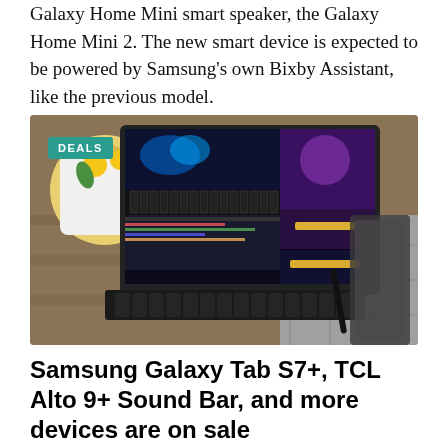Galaxy Home Mini smart speaker, the Galaxy Home Mini 2. The new smart device is expected to be powered by Samsung's own Bixby Assistant, like the previous model.
[Figure (photo): Samsung Galaxy Tab S7+ tablet with keyboard case on an outdoor table, displaying music/media software on screen. A 'DEALS' badge is overlaid in the top-left corner.]
Samsung Galaxy Tab S7+, TCL Alto 9+ Sound Bar, and more devices are on sale